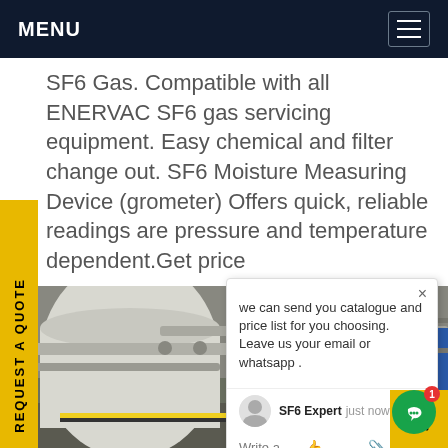MENU
SF6 Gas. Compatible with all ENERVAC SF6 gas servicing equipment. Easy chemical and filter change out. SF6 Moisture Measuring Device (grometer) Offers quick, reliable readings are pressure and temperature dependent.Get price
[Figure (photo): Industrial workers in blue hard hats and coveralls working on large industrial gas equipment, pipes and tanks in an industrial facility]
we can send you catalogue and price list for you choosing. Leave us your email or whatsapp .
SF6 Expert   just now
Write a
REQUEST A QUOTE